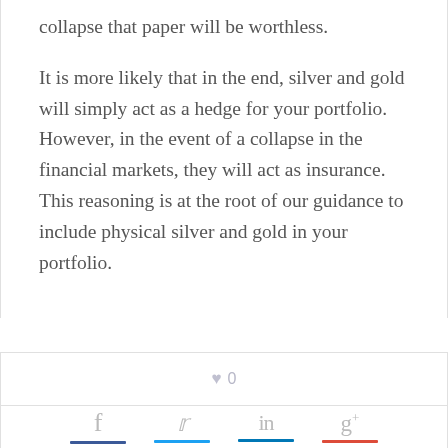collapse that paper will be worthless.
It is more likely that in the end, silver and gold will simply act as a hedge for your portfolio. However, in the event of a collapse in the financial markets, they will act as insurance. This reasoning is at the root of our guidance to include physical silver and gold in your portfolio.
♥ 0
[Figure (other): Social share buttons for Facebook (f), Twitter (bird icon), LinkedIn (in), and Google+ (g+), each with a colored underline bar.]